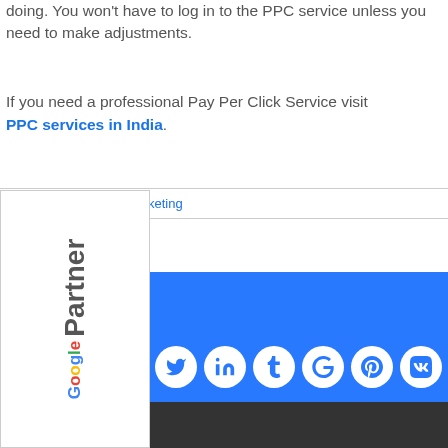doing. You won't have to log in to the PPC service unless you need to make adjustments.
If you need a professional Pay Per Click Service visit PPC services in India.
[Figure (logo): Google Partner badge with vertical text rotated 90 degrees]
keting
[Figure (infographic): Blue social sharing footer bar with social media icons: Facebook, Twitter, LinkedIn, Tumblr, Google+, Pinterest, VK, Email]